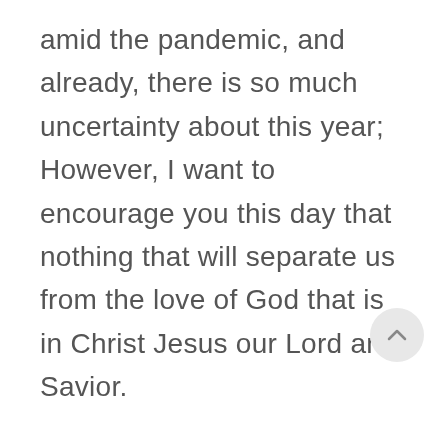amid the pandemic, and already, there is so much uncertainty about this year; However, I want to encourage you this day that nothing that will separate us from the love of God that is in Christ Jesus our Lord and Savior.
I want to remind you that God is still in control, and He is well able to do exceedingly, abundantly above all that we ask or think according to the power that works in us, Eph.3:20. May I encourage you this day to continue